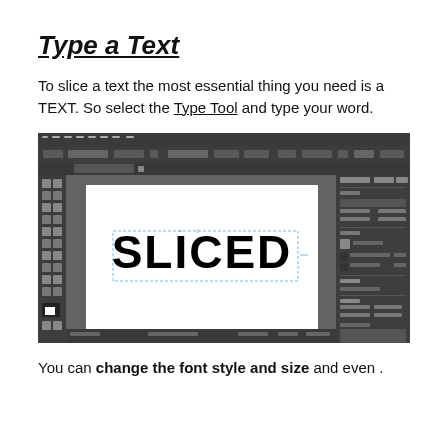Type a Text
To slice a text the most essential thing you need is a TEXT. So select the Type Tool and type your word.
[Figure (screenshot): Adobe Illustrator screenshot showing the word SLICED typed in large black text on a white canvas, with the application toolbars and panels visible around it.]
You can change the font style and size and even .